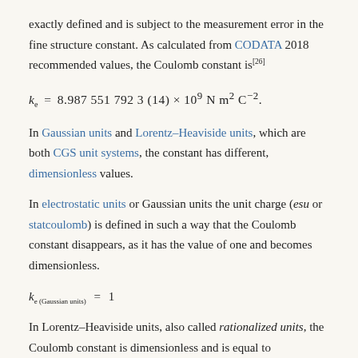exactly defined and is subject to the measurement error in the fine structure constant. As calculated from CODATA 2018 recommended values, the Coulomb constant is[26]
In Gaussian units and Lorentz–Heaviside units, which are both CGS unit systems, the constant has different, dimensionless values.
In electrostatic units or Gaussian units the unit charge (esu or statcoulomb) is defined in such a way that the Coulomb constant disappears, as it has the value of one and becomes dimensionless.
In Lorentz–Heaviside units, also called rationalized units, the Coulomb constant is dimensionless and is equal to